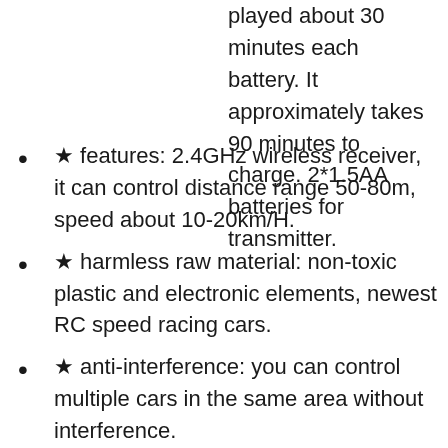played about 30 minutes each battery. It approximately takes 90 minutes to charge. 2*1.5AA batteries for transmitter.
★ features: 2.4GHz wireless receiver, it can control distance range 50-80m, speed about 10-20km/H.
★ harmless raw material: non-toxic plastic and electronic elements, newest RC speed racing cars.
★ anti-interference: you can control multiple cars in the same area without interference.
★ FULL functions of cars: pistol grip style transmitter. Full function of forward/reverse/left/right and stop